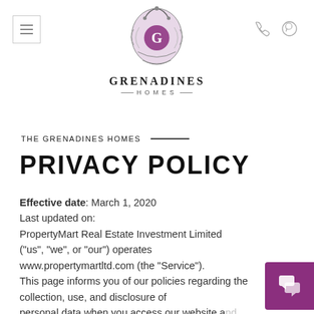Grenadines Homes — header with logo, hamburger menu, phone and WhatsApp icons
THE GRENADINES HOMES
PRIVACY POLICY
Effective date: March 1, 2020
Last updated on:
PropertyMart Real Estate Investment Limited ("us", "we", or "our") operates www.propertymartltd.com (the "Service").
This page informs you of our policies regarding the collection, use, and disclosure of personal data when you access our website and use our Service and the choices you